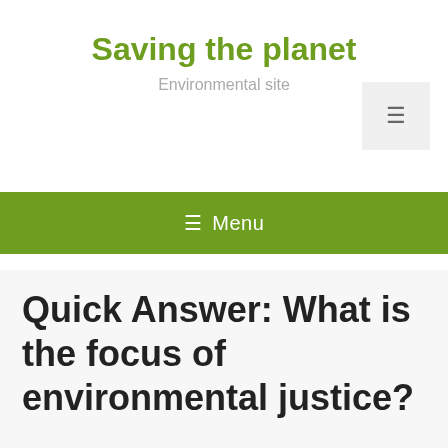Saving the planet
Environmental site
≡ Menu
Quick Answer: What is the focus of environmental justice?